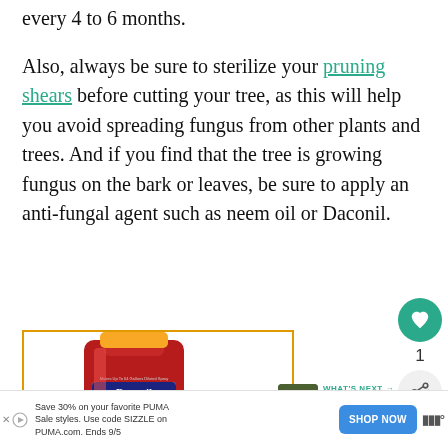every 4 to 6 months.
Also, always be sure to sterilize your pruning shears before cutting your tree, as this will help you avoid spreading fungus from other plants and trees. And if you find that the tree is growing fungus on the bark or leaves, be sure to apply an anti-fungal agent such as neem oil or Daconil.
[Figure (photo): A bottle of Daconil Fungicide Concentrate, with a red plastic bottle and yellow cap, shown against a white background with a yellow-orange border around the image frame.]
WHAT'S NEXT → Can Bald Cypress Gro...
Save 30% on your favorite PUMA Sale styles. Use code SIZZLE on PUMA.com. Ends 9/5